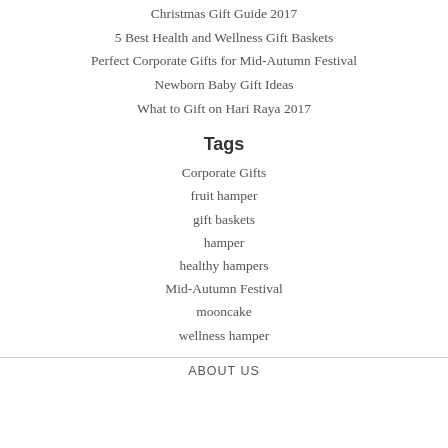Christmas Gift Guide 2017
5 Best Health and Wellness Gift Baskets
Perfect Corporate Gifts for Mid-Autumn Festival
Newborn Baby Gift Ideas
What to Gift on Hari Raya 2017
Tags
Corporate Gifts
fruit hamper
gift baskets
hamper
healthy hampers
Mid-Autumn Festival
mooncake
wellness hamper
ABOUT US